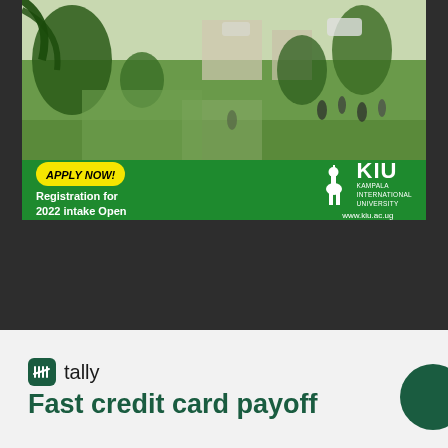[Figure (photo): University campus aerial/ground photo showing green lawns, palm trees, people walking, vehicles, and buildings in background]
APPLY NOW! Registration for 2022 intake Open
[Figure (logo): KIU - Kampala International University logo with giraffe icon, text KAMPALA INTERNATIONAL UNIVERSITY and www.kiu.ac.ug]
[Figure (logo): Tally app logo - green rounded square icon with tally marks]
Fast credit card payoff